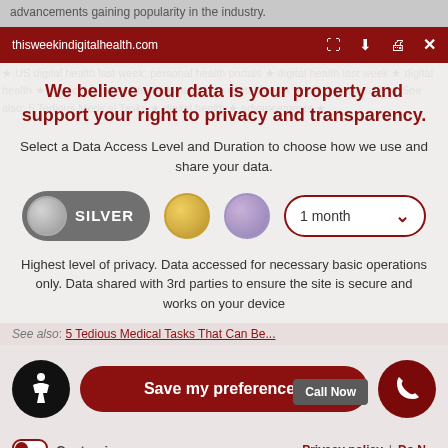advancements gaining popularity in the industry.
thisweekindigitalhealth.com
We believe your data is your property and support your right to privacy and transparency.
Select a Data Access Level and Duration to choose how we use and share your data.
[Figure (infographic): Privacy level selector showing SILVER pill toggle, gold circle, purple circle, and 1 month dropdown selector]
Highest level of privacy. Data accessed for necessary basic operations only. Data shared with 3rd parties to ensure the site is secure and works on your device
See also: 5 Tedious Medical Tasks That Can Be...
[Figure (infographic): Save my preferences button, accessibility icon, Call Now button, phone circle button]
Customize
Privacy policy | Do No...